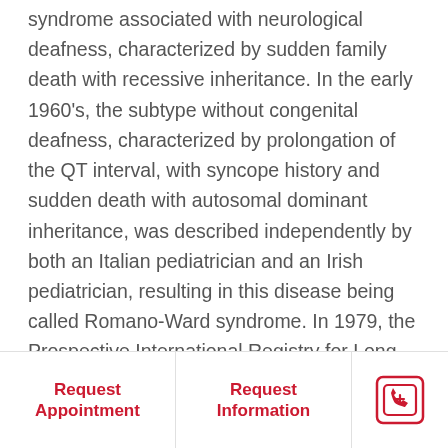syndrome associated with neurological deafness, characterized by sudden family death with recessive inheritance. In the early 1960's, the subtype without congenital deafness, characterized by prolongation of the QT interval, with syncope history and sudden death with autosomal dominant inheritance, was described independently by both an Italian pediatrician and an Irish pediatrician, resulting in this disease being called Romano-Ward syndrome. In 1979, the Prospective International Registry for Long QT Syndrome was established, which enabled the evaluation of many families affected by the disease worldwide, enabling them to obtain fundamental information on the clinical history of the disease, its therapy, and its genetic basis
Request Appointment | Request Information | Phone icon